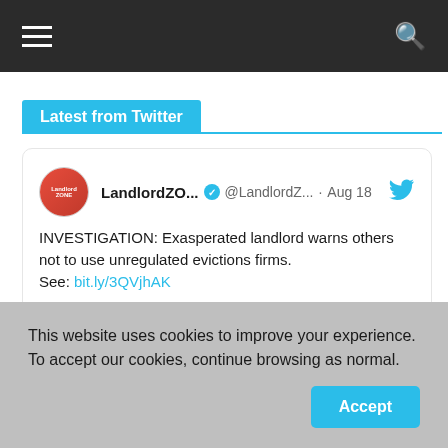Navigation bar with hamburger menu and search icon
Latest from Twitter
LandlordZO... @LandlordZ... · Aug 18
INVESTIGATION: Exasperated landlord warns others not to use unregulated evictions firms. See: bit.ly/3QVjhAK
[Figure (photo): Person pulling out empty pockets of jeans, blurred background]
This website uses cookies to improve your experience. To accept our cookies, continue browsing as normal.